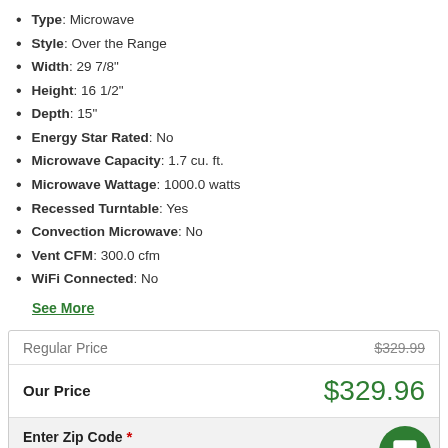Type: Microwave
Style: Over the Range
Width: 29 7/8"
Height: 16 1/2"
Depth: 15"
Energy Star Rated: No
Microwave Capacity: 1.7 cu. ft.
Microwave Wattage: 1000.0 watts
Recessed Turntable: Yes
Convection Microwave: No
Vent CFM: 300.0 cfm
WiFi Connected: No
See More
|  |  |
| --- | --- |
| Regular Price | $329.99 |
| Our Price | $329.96 |
Enter Zip Code * For delivery options and item availability.